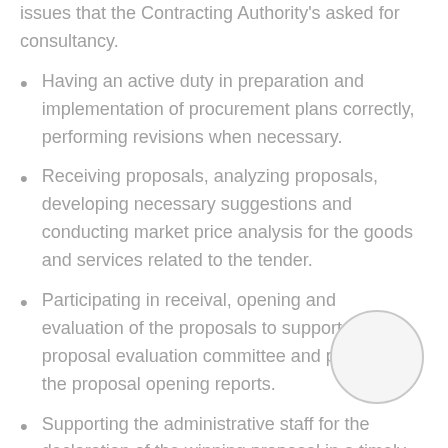issues that the Contracting Authority's asked for consultancy.
Having an active duty in preparation and implementation of procurement plans correctly, performing revisions when necessary.
Receiving proposals, analyzing proposals, developing necessary suggestions and conducting market price analysis for the goods and services related to the tender.
Participating in receival, opening and evaluation of the proposals to support the proposal evaluation committee and preparing the proposal opening reports.
Supporting the administrative staff for the declaration of the winning proposal in a timely manner, preparing a contract for